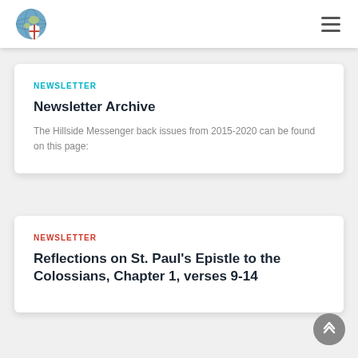Navigation header with logo and hamburger menu
NEWSLETTER
Newsletter Archive
The Hillside Messenger back issues from 2015-2020 can be found on this page:
NEWSLETTER
Reflections on St. Paul’s Epistle to the Colossians, Chapter 1, verses 9-14